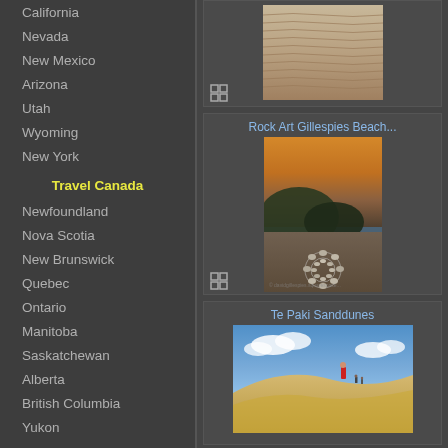California
Nevada
New Mexico
Arizona
Utah
Wyoming
New York
Travel Canada
Newfoundland
Nova Scotia
New Brunswick
Quebec
Ontario
Manitoba
Saskatchewan
Alberta
British Columbia
Yukon
Other Countries
New Zealand
Galapagos
Africa
Mexico
India
[Figure (photo): Sand dunes with ripple patterns, top portion visible]
Rock Art Gillespies Beach...
[Figure (photo): Rock art installation on Gillespies Beach at sunset, with circular stone spiral on sandy beach, coastal vegetation]
Te Paki Sanddunes
[Figure (photo): People walking/sliding down Te Paki sand dunes under blue sky with clouds]